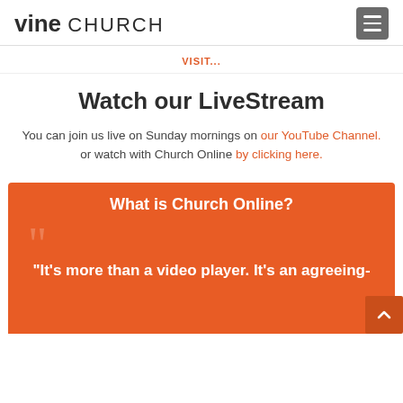vine CHURCH
VISIT...
Watch our LiveStream
You can join us live on Sunday mornings on our YouTube Channel. or watch with Church Online by clicking here.
What is Church Online?
“It's more than a video player. It's an agreeing-